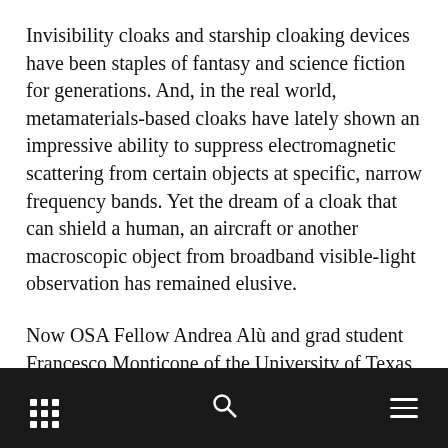Invisibility cloaks and starship cloaking devices have been staples of fantasy and science fiction for generations. And, in the real world, metamaterials-based cloaks have lately shown an impressive ability to suppress electromagnetic scattering from certain objects at specific, narrow frequency bands. Yet the dream of a cloak that can shield a human, an aircraft or another macroscopic object from broadband visible-light observation has remained elusive.
Now OSA Fellow Andrea Alù and grad student Francesco Monticone of the University of Texas, Austin (USA), have put some bounds on what might be possible with metamaterial-based cloaking devices
[grid icon] [search icon] [menu icon]